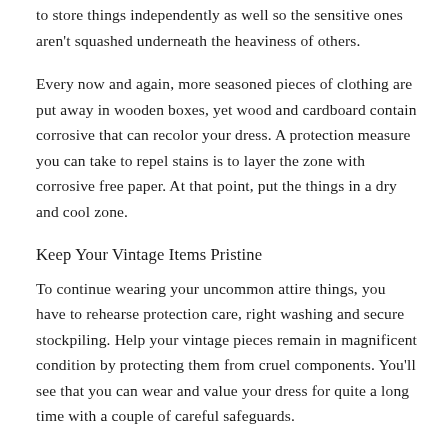to store things independently as well so the sensitive ones aren't squashed underneath the heaviness of others.
Every now and again, more seasoned pieces of clothing are put away in wooden boxes, yet wood and cardboard contain corrosive that can recolor your dress. A protection measure you can take to repel stains is to layer the zone with corrosive free paper. At that point, put the things in a dry and cool zone.
Keep Your Vintage Items Pristine
To continue wearing your uncommon attire things, you have to rehearse protection care, right washing and secure stockpiling. Help your vintage pieces remain in magnificent condition by protecting them from cruel components. You'll see that you can wear and value your dress for quite a long time with a couple of careful safeguards.
Tags:   80S   RETRO   RETRO CLOTHING